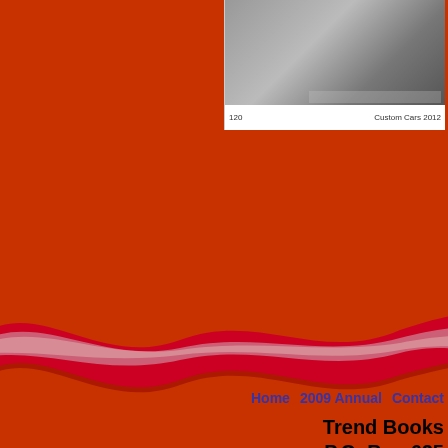[Figure (photo): Partial view of a book page showing a vintage/custom car photograph, with page number 120 and title 'Custom Cars 2012' at the bottom]
[Figure (illustration): Decorative wave ribbon graphic in red and pink/lavender colors across the page on a dark red/orange background]
Home   2009 Annual   Contact
Trend Books
P.O. Box 625
Casper, Wyo. 82602
Email: publisher@trendcustom...